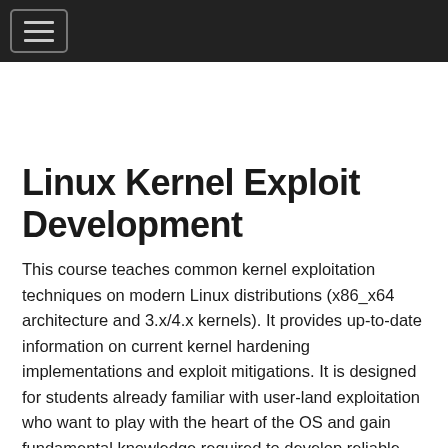[Navigation bar with hamburger menu]
Linux Kernel Exploit Development
This course teaches common kernel exploitation techniques on modern Linux distributions (x86_x64 architecture and 3.x/4.x kernels). It provides up-to-date information on current kernel hardening implementations and exploit mitigations. It is designed for students already familiar with user-land exploitation who want to play with the heart of the OS and gain fundamental knowledge required to develop reliable and effective kernel exploits.